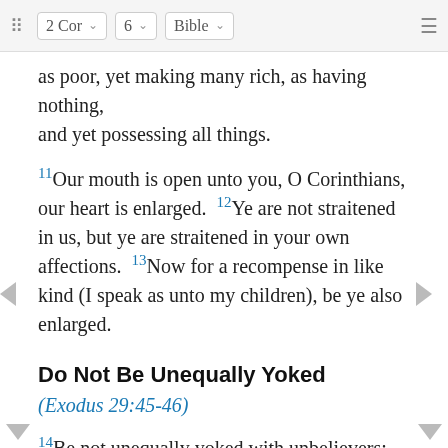2 Cor  6  Bible
as poor, yet making many rich, as having nothing, and yet possessing all things.
11Our mouth is open unto you, O Corinthians, our heart is enlarged. 12Ye are not straitened in us, but ye are straitened in your own affections. 13Now for a recompense in like kind (I speak as unto my children), be ye also enlarged.
Do Not Be Unequally Yoked
(Exodus 29:45-46)
14Be not unequally yoked with unbelievers: for what fellowship have righteousness and iniquity? or what communion hath light with darkness? 15And what concord hath Christ with Belial? or what portion hath a believer with an unbeliever?
16And what agreement hath a temple of God with